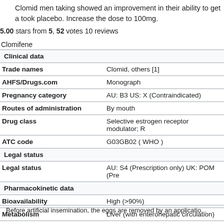Clomid men taking showed an improvement in their ability to get a took placebo. Increase the dose to 100mg.
5.00 stars from 5, 52 votes 10 reviews
| Property | Value |
| --- | --- |
| Clinical data |  |
| Trade names | Clomid, others [1] |
| AHFS/Drugs.com | Monograph |
| Pregnancy category | AU: B3 US: X (Contraindicated) |
| Routes of administration | By mouth |
| Drug class | Selective estrogen receptor modulator; R |
| ATC code | G03GB02 ( WHO ) |
| Legal status |  |
| Legal status | AU: S4 (Prescription only) UK: POM (Pre |
| Pharmacokinetic data |  |
| Bioavailability | High (>90%) |
| Metabolism | Liver (with enterohepatic circulation) |
| Elimination half-life | 5–7 days |
| Excretion | Mainly urine, some in bile |
Before artificial insemination, the eggs are removed by an applicatio...